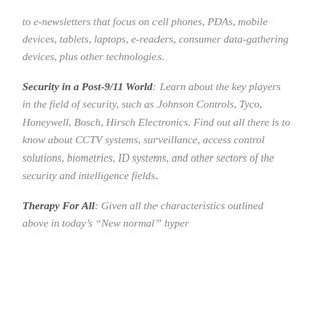to e-newsletters that focus on cell phones, PDAs, mobile devices, tablets, laptops, e-readers, consumer data-gathering devices, plus other technologies.
Security in a Post-9/11 World: Learn about the key players in the field of security, such as Johnson Controls, Tyco, Honeywell, Bosch, Hirsch Electronics. Find out all there is to know about CCTV systems, surveillance, access control solutions, biometrics, ID systems, and other sectors of the security and intelligence fields.
Therapy For All: Given all the characteristics outlined above in today's “New normal” hyper